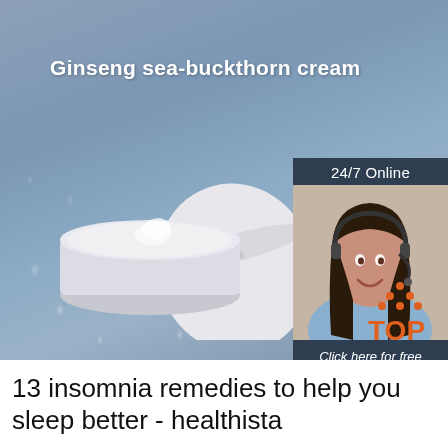[Figure (photo): Open white cream jar with lid and cream visible, on a blue-grey surface with water droplets, featuring the text 'Ginseng sea-buckthorn cream']
[Figure (photo): Customer service representative with headset smiling, with overlay text '24/7 Online', 'Click here for free chat!', and orange 'QUOTATION' button]
[Figure (logo): Orange 'TOP' logo in bottom right corner with orange dot pattern above the text]
13 insomnia remedies to help you sleep better - healthista